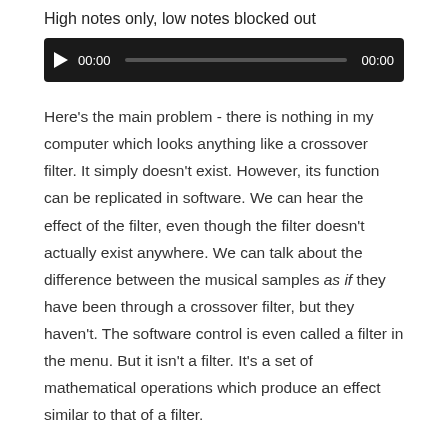High notes only, low notes blocked out
[Figure (other): Audio player widget with play button, timestamp 00:00, progress bar, and end time 00:00 on dark background]
Here's the main problem - there is nothing in my computer which looks anything like a crossover filter. It simply doesn't exist. However, its function can be replicated in software. We can hear the effect of the filter, even though the filter doesn't actually exist anywhere. We can talk about the difference between the musical samples as if they have been through a crossover filter, but they haven't. The software control is even called a filter in the menu. But it isn't a filter. It's a set of mathematical operations which produce an effect similar to that of a filter.